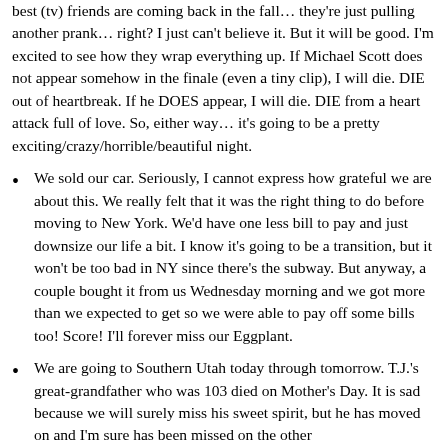best (tv) friends are coming back in the fall… they're just pulling another prank… right? I just can't believe it. But it will be good. I'm excited to see how they wrap everything up. If Michael Scott does not appear somehow in the finale (even a tiny clip), I will die. DIE out of heartbreak. If he DOES appear, I will die. DIE from a heart attack full of love. So, either way… it's going to be a pretty exciting/crazy/horrible/beautiful night.
We sold our car. Seriously, I cannot express how grateful we are about this. We really felt that it was the right thing to do before moving to New York. We'd have one less bill to pay and just downsize our life a bit. I know it's going to be a transition, but it won't be too bad in NY since there's the subway. But anyway, a couple bought it from us Wednesday morning and we got more than we expected to get so we were able to pay off some bills too! Score! I'll forever miss our Eggplant.
We are going to Southern Utah today through tomorrow. T.J.'s great-grandfather who was 103 died on Mother's Day. It is sad because we will surely miss his sweet spirit, but he has moved on and I'm sure has been missed on the other